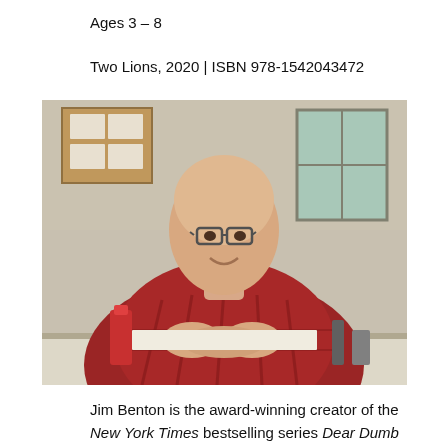Ages 3 – 8
Two Lions, 2020 | ISBN 978-1542043472
[Figure (photo): Author photo of Jim Benton, a bald man wearing glasses and a red plaid shirt, seated at a desk in an office/studio setting with a corkboard and window visible in the background.]
Jim Benton is the award-winning creator of the New York Times bestselling series Dear Dumb Diary and Franny K. Stein as well as the popular It's Happy Bunny brand. His books have sold more than fifteen million copies in twenty-five countries and have garnered numerous honors. Like Comet, Jim knows